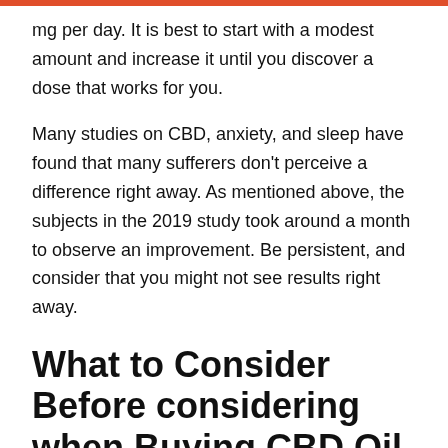mg per day. It is best to start with a modest amount and increase it until you discover a dose that works for you.
Many studies on CBD, anxiety, and sleep have found that many sufferers don't perceive a difference right away. As mentioned above, the subjects in the 2019 study took around a month to observe an improvement. Be persistent, and consider that you might not see results right away.
What to Consider Before considering when Buying CBD Oil for Sleep